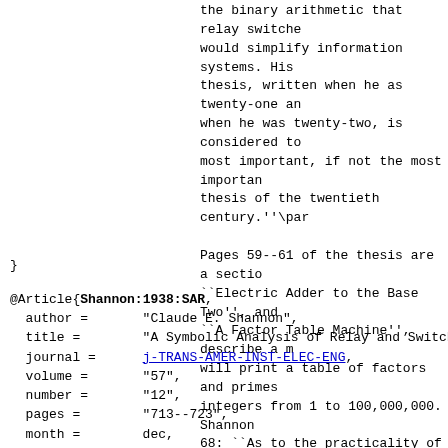the binary arithmetic that relay switches would simplify information systems. His thesis, written when he as twenty-one and when he was twenty-two, is considered to most important, if not the most important thesis of the twentieth century.''\par

Pages 59--61 of the thesis are a section ``Electric Adder to the Base Two'', and ``A Factor Table Machine'', describe a machine will print a table of factors and primes for integers from 1 to 100,000,000. Shannon on page 68: ``As to the practicality of such a device, be said that J. P. Kulik spent 20 years constructing a table of primes up to 100,000,000 and when finished, it was found to contain so many errors that it was not worth publishing. The machine described here could probably be made to handle 5 numbers per second, so the table would require only about 2 months to construct.''
}
@Article{Shannon:1938:SAR,
  author =       "Claude E. Shannon",
  title =        "A Symbolic Analysis of Relay and Switch
  journal =      j-TRANS-AMER-INST-ELEC-ENG,
  volume =       "57",
  number =       "12",
  pages =        "713--723",
  month =        dec,